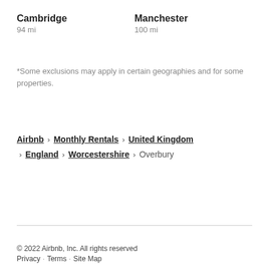Cambridge
94 mi
Manchester
100 mi
*Some exclusions may apply in certain geographies and for some properties.
Airbnb › Monthly Rentals › United Kingdom › England › Worcestershire › Overbury
© 2022 Airbnb, Inc. All rights reserved
Privacy · Terms · Site Map